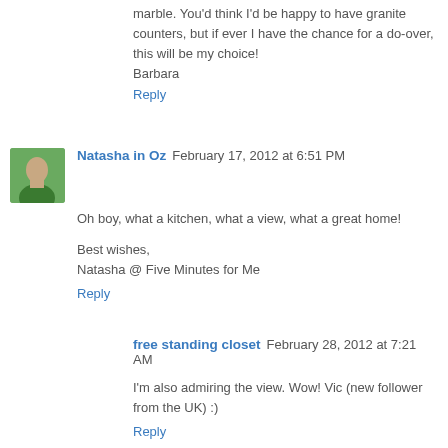marble. You'd think I'd be happy to have granite counters, but if ever I have the chance for a do-over, this will be my choice!
Barbara
Reply
Natasha in Oz  February 17, 2012 at 6:51 PM
Oh boy, what a kitchen, what a view, what a great home!
Best wishes,
Natasha @ Five Minutes for Me
Reply
free standing closet  February 28, 2012 at 7:21 AM
I'm also admiring the view. Wow! Vic (new follower from the UK) :)
Reply